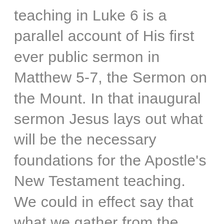teaching in Luke 6 is a parallel account of His first ever public sermon in Matthew 5-7, the Sermon on the Mount. In that inaugural sermon Jesus lays out what will be the necessary foundations for the Apostle's New Testament teaching. We could in effect say that what we gather from the Sermon on the Mount constitutes the foundations for the Christian life. Every child of God should desire a healthy Christian walk. Thus in the opening above three verses (Luke 6:27,37,and 47), we see depicted those three marks, which are listed below: